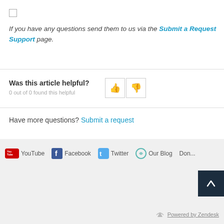If you have any questions send them to us via the Submit a Request / Support page.
Was this article helpful?
0 out of 0 found this helpful
Have more questions? Submit a request
YouTube  Facebook  Twitter  Our Blog  Don...  Powered by Zendesk